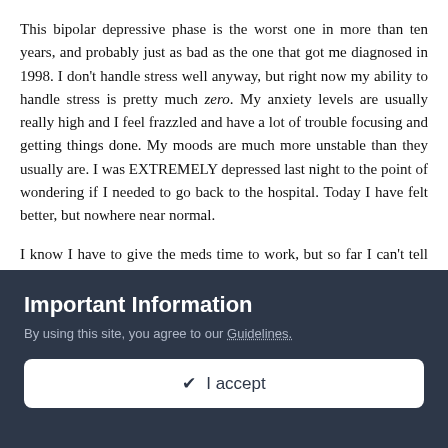This bipolar depressive phase is the worst one in more than ten years, and probably just as bad as the one that got me diagnosed in 1998. I don't handle stress well anyway, but right now my ability to handle stress is pretty much zero. My anxiety levels are usually really high and I feel frazzled and have a lot of trouble focusing and getting things done. My moods are much more unstable than they usually are. I was EXTREMELY depressed last night to the point of wondering if I needed to go back to the hospital. Today I have felt better, but nowhere near normal.
I know I have to give the meds time to work, but so far I can't tell that the Lamictal is doing anything. It's certainly not stabilizing my moods or having an antidepressant effect, which is what I was told to expect.
Important Information
By using this site, you agree to our Guidelines.
✔ I accept